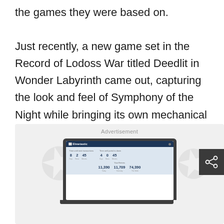the games they were based on.

Just recently, a new game set in the Record of Lodoss War titled Deedlit in Wonder Labyrinth came out, capturing the look and feel of Symphony of the Night while bringing its own mechanical changes to the table.
Advertisement
[Figure (screenshot): Advertisement panel showing a laptop with a countdown/statistics web application interface displaying countdown timers and visitor statistics (11,390 Today, 11,709 Yesterday, 74,390 This Week)]